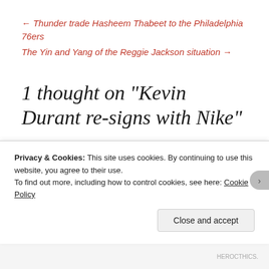← Thunder trade Hasheem Thabeet to the Philadelphia 76ers
The Yin and Yang of the Reggie Jackson situation →
1 thought on “Kevin Durant re-signs with Nike”
September 1, 2014 at 12:17 pm
Privacy & Cookies: This site uses cookies. By continuing to use this website, you agree to their use.
To find out more, including how to control cookies, see here: Cookie Policy
Close and accept